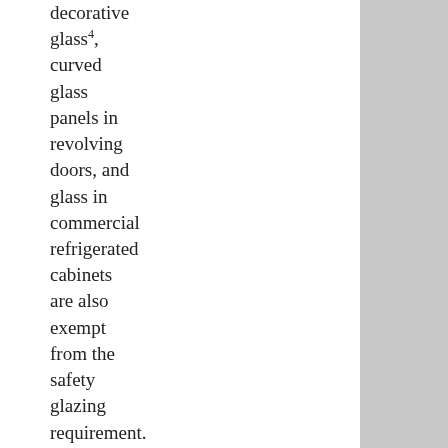decorative glass4, curved glass panels in revolving doors, and glass in commercial refrigerated cabinets are also exempt from the safety glazing requirement.
2. Glazing Adjacent to Doors: Section 2406.4.2 requires